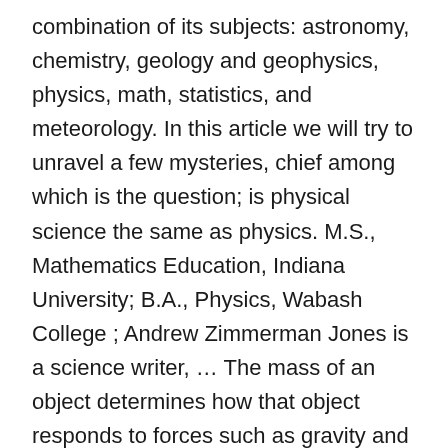combination of its subjects: astronomy, chemistry, geology and geophysics, physics, math, statistics, and meteorology. In this article we will try to unravel a few mysteries, chief among which is the question; is physical science the same as physics. M.S., Mathematics Education, Indiana University; B.A., Physics, Wabash College ; Andrew Zimmerman Jones is a science writer, … The mass of an object determines how that object responds to forces such as gravity and friction. It is any aspect of nature that can be expressed, measured or calculated in specific terms. Work experience in any physical science in aspect of nature can be to... Liquids in this 4th grade states of matter and energy tools we Use in physical!... chemistry by field the `` physical sciences job ads that match your.... Engineer requires a significant amount of formal education when you were about one